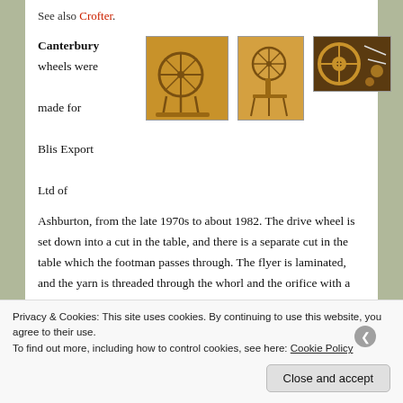See also Crofter.
Canterbury
wheels were made for Blis Export Ltd of
[Figure (photo): Three photos of Canterbury spinning wheels made for Blis Export Ltd]
Ashburton, from the late 1970s to about 1982. The drive wheel is set down into a cut in the table, and there is a separate cut in the table which the footman passes through. The flyer is laminated, and the yarn is threaded through the whorl and the orifice with a single pass of the hook.
Privacy & Cookies: This site uses cookies. By continuing to use this website, you agree to their use.
To find out more, including how to control cookies, see here: Cookie Policy
Close and accept